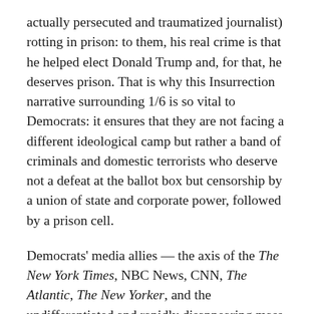actually persecuted and traumatized journalist) rotting in prison: to them, his real crime is that he helped elect Donald Trump and, for that, he deserves prison. That is why this Insurrection narrative surrounding 1/6 is so vital to Democrats: it ensures that they are not facing a different ideological camp but rather a band of criminals and domestic terrorists who deserve not a defeat at the ballot box but censorship by a union of state and corporate power, followed by a prison cell.
Democrats' media allies — the axis of the The New York Times, NBC News, CNN, The Atlantic, The New Yorker, and the undifferentiated and rapidly disappearing mass of Brooklyn-based digital outlets (HuffPostGizmodoBuzzFeedDailyBeastIntercept MotherJonesViceVultureVox, who churn out the same content with just a few more curse words and radical